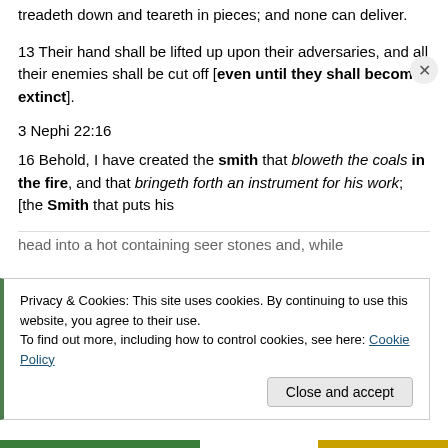treadeth down and teareth in pieces; and none can deliver.
13 Their hand shall be lifted up upon their adversaries, and all their enemies shall be cut off [even until they shall become extinct].
3 Nephi 22:16
16 Behold, I have created the smith that bloweth the coals in the fire, and that bringeth forth an instrument for his work; [the Smith that puts his head into a hot containing seer stones and, while
Privacy & Cookies: This site uses cookies. By continuing to use this website, you agree to their use.
To find out more, including how to control cookies, see here: Cookie Policy
Close and accept